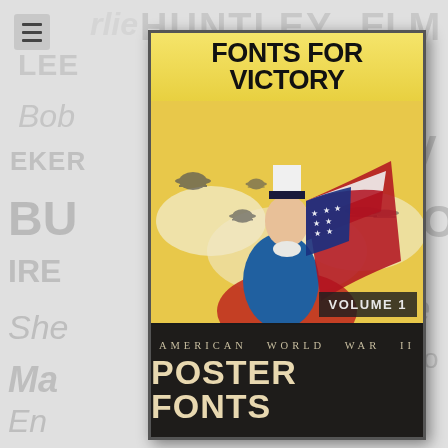[Figure (illustration): Book cover for 'Fonts for Victory Volume 1: American World War II Poster Fonts', shown against a light gray background watermarked with various font name samples. The cover features a WWII-era patriotic illustration of Uncle Sam holding an American flag with bomber planes in the background, on a yellow background. The bottom of the cover has a dark banner reading 'American World War II Poster Fonts' in period typography.]